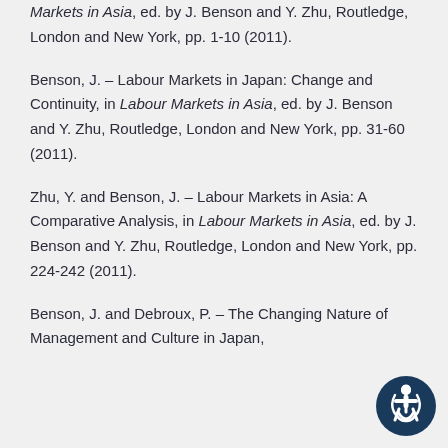Markets in Asia, ed. by J. Benson and Y. Zhu, Routledge, London and New York, pp. 1-10 (2011).
Benson, J. – Labour Markets in Japan: Change and Continuity, in Labour Markets in Asia, ed. by J. Benson and Y. Zhu, Routledge, London and New York, pp. 31-60 (2011).
Zhu, Y. and Benson, J. – Labour Markets in Asia: A Comparative Analysis, in Labour Markets in Asia, ed. by J. Benson and Y. Zhu, Routledge, London and New York, pp. 224-242 (2011).
Benson, J. and Debroux, P. – The Changing Nature of Management and Culture in Japan,